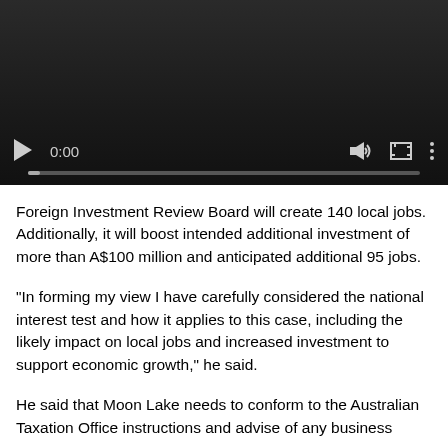[Figure (screenshot): Embedded video player showing a dark background with playback controls: play button, timestamp 0:00, progress bar, volume icon, fullscreen icon, and options icon.]
Foreign Investment Review Board will create 140 local jobs. Additionally, it will boost intended additional investment of more than A$100 million and anticipated additional 95 jobs.
"In forming my view I have carefully considered the national interest test and how it applies to this case, including the likely impact on local jobs and increased investment to support economic growth," he said.
He said that Moon Lake needs to conform to the Australian Taxation Office instructions and advise of any business